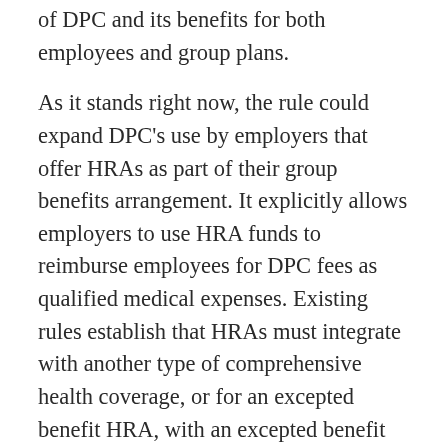of DPC and its benefits for both employees and group plans.
As it stands right now, the rule could expand DPC's use by employers that offer HRAs as part of their group benefits arrangement. It explicitly allows employers to use HRA funds to reimburse employees for DPC fees as qualified medical expenses. Existing rules establish that HRAs must integrate with another type of comprehensive health coverage, or for an excepted benefit HRA, with an excepted benefit plan. The proposed rule indicates that DPC alone is insufficient for this purpose, so traditional group coverage (or in the case of a qualified small employer HRA or individual coverage HRA, individual major medical coverage) must be in